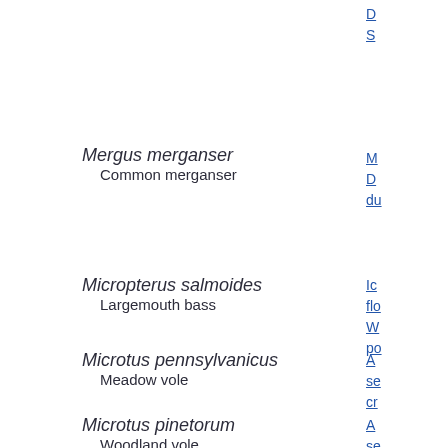D...
S...
Mergus merganser
Common merganser
M...
D...
du...
Micropterus salmoides
Largemouth bass
Ic...
flo...
W...
po...
Microtus pennsylvanicus
Meadow vole
A...
se...
cr...
Microtus pinetorum
Woodland vole
A...
se...
cr...